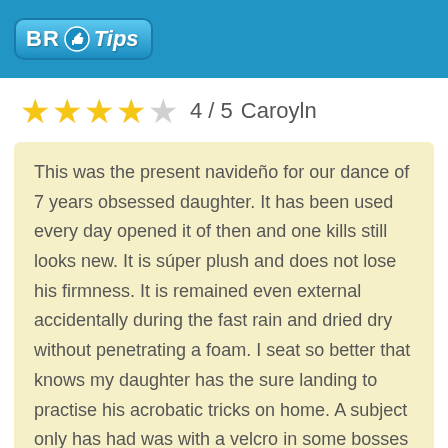BR Tips
4 / 5  Caroyln
This was the present navideño for our dance of 7 years obsessed daughter. It has been used every day opened it of then and one kills still looks new. It is súper plush and does not lose his firmness. It is remained even external accidentally during the fast rain and dried dry without penetrating a foam. I seat so better that knows my daughter has the sure landing to practise his acrobatic tricks on home. A subject only has had was with a velcro in some bosses - a stitching untangled enough quickly and is not never state mistreated. It does